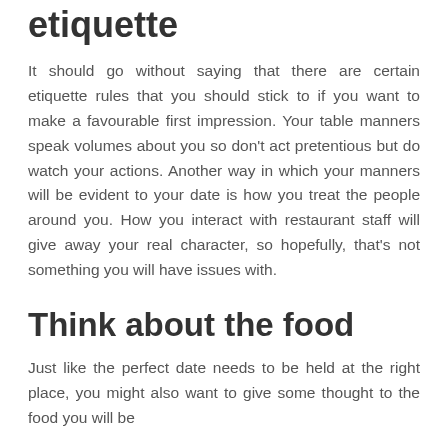etiquette
It should go without saying that there are certain etiquette rules that you should stick to if you want to make a favourable first impression. Your table manners speak volumes about you so don't act pretentious but do watch your actions. Another way in which your manners will be evident to your date is how you treat the people around you. How you interact with restaurant staff will give away your real character, so hopefully, that's not something you will have issues with.
Think about the food
Just like the perfect date needs to be held at the right place, you might also want to give some thought to the food you will be